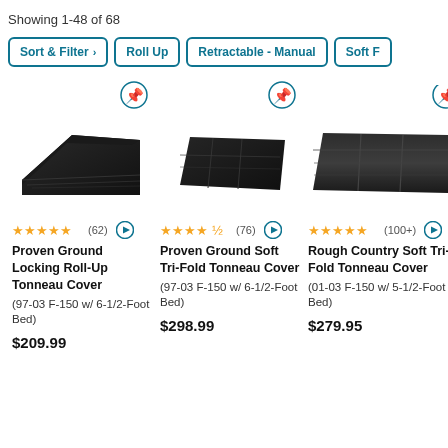Showing 1-48 of 68
Sort & Filter ›
Roll Up
Retractable - Manual
Soft F…
[Figure (photo): Proven Ground Locking Roll-Up Tonneau Cover product image - black cover]
★★★★★ (62) — Proven Ground Locking Roll-Up Tonneau Cover (97-03 F-150 w/ 6-1/2-Foot Bed) — $209.99
[Figure (photo): Proven Ground Soft Tri-Fold Tonneau Cover product image - black cover]
★★★★½ (76) — Proven Ground Soft Tri-Fold Tonneau Cover (97-03 F-150 w/ 6-1/2-Foot Bed) — $298.99
[Figure (photo): Rough Country Soft Tri-Fold Tonneau Cover product image - black cover]
★★★★★ (100+) — Rough Country Soft Tri-Fold Tonneau Cover (01-03 F-150 w/ 5-1/2-Foot Bed) — $279.95